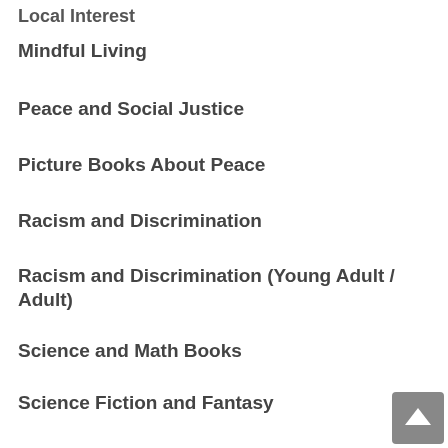Local Interest
Mindful Living
Peace and Social Justice
Picture Books About Peace
Racism and Discrimination
Racism and Discrimination (Young Adult / Adult)
Science and Math Books
Science Fiction and Fantasy
Talking About Life and Death
Young Adult Books